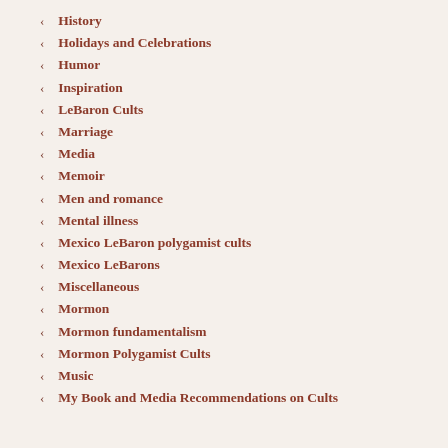History
Holidays and Celebrations
Humor
Inspiration
LeBaron Cults
Marriage
Media
Memoir
Men and romance
Mental illness
Mexico LeBaron polygamist cults
Mexico LeBarons
Miscellaneous
Mormon
Mormon fundamentalism
Mormon Polygamist Cults
Music
My Book and Media Recommendations on Cults